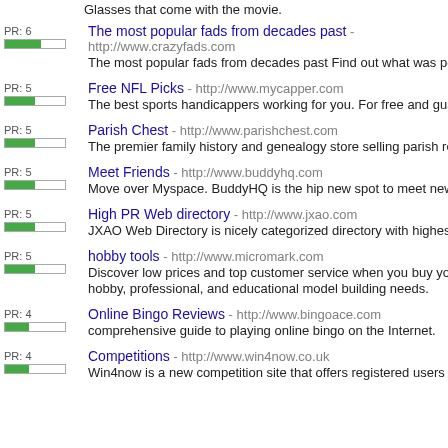Glasses that come with the movie.
PR: 6 | The most popular fads from decades past - http://www.crazyfads.com | The most popular fads from decades past Find out what was popular when your p
PR: 5 | Free NFL Picks - http://www.mycapper.com | The best sports handicappers working for you. For free and guaranteed nfl, mlb a
PR: 5 | Parish Chest - http://www.parishchest.com | The premier family history and genealogy store selling parish registers, census re
PR: 5 | Meet Friends - http://www.buddyhq.com | Move over Myspace. BuddyHQ is the hip new spot to meet new friends
PR: 5 | High PR Web directory - http://www.jxao.com | JXAO Web Directory is nicely categorized directory with highest quality sites orga
PR: 5 | hobby tools - http://www.micromark.com | Discover low prices and top customer service when you buy your small tools and hobby, professional, and educational model building needs.
PR: 4 | Online Bingo Reviews - http://www.bingoace.com | comprehensive guide to playing online bingo on the Internet.
PR: 4 | Competitions - http://www.win4now.co.uk | Win4now is a new competition site that offers registered users the chance to win